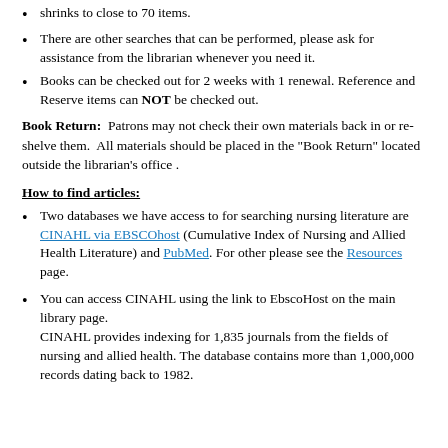shrinks to close to 70 items.
There are other searches that can be performed, please ask for assistance from the librarian whenever you need it.
Books can be checked out for 2 weeks with 1 renewal. Reference and Reserve items can NOT be checked out.
Book Return: Patrons may not check their own materials back in or re-shelve them. All materials should be placed in the "Book Return" located outside the librarian’s office .
How to find articles:
Two databases we have access to for searching nursing literature are CINAHL via EBSCOhost (Cumulative Index of Nursing and Allied Health Literature) and PubMed. For other please see the Resources page.
You can access CINAHL using the link to EbscoHost on the main library page. CINAHL provides indexing for 1,835 journals from the fields of nursing and allied health. The database contains more than 1,000,000 records dating back to 1982.